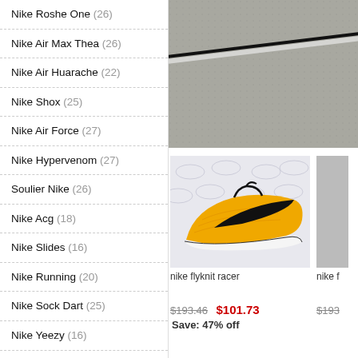Nike Roshe One (26)
Nike Air Max Thea (26)
Nike Air Huarache (22)
Nike Shox (25)
Nike Air Force (27)
Nike Hypervenom (27)
Soulier Nike (26)
Nike Acg (18)
Nike Slides (16)
Nike Running (20)
Nike Sock Dart (25)
Nike Yeezy (16)
Nike Sneakers (23)
Nike Mercurial (26)
Nike Boots (22)
Nike Metcon (26)
[Figure (photo): Close-up photo of a shoe sole on pavement, gray/concrete background with a dark diagonal strap/lace]
[Figure (photo): Nike Flyknit Racer sneaker in yellow/orange with black Nike swoosh on a display background with repeated oval logo watermarks]
nike flyknit racer
nike f
$193.46  $101.73  Save: 47% off
$193